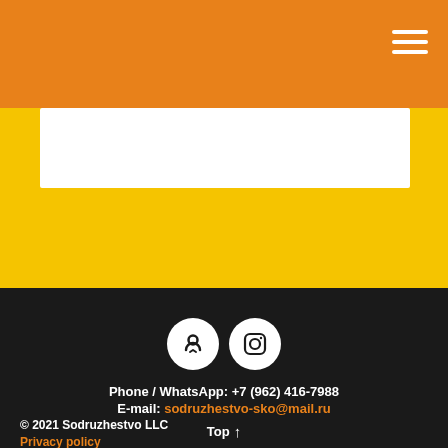[Figure (screenshot): White content box on yellow background]
[Figure (illustration): Two social media icons: Odnoklassniki and Instagram, white circles on dark background]
Phone / WhatsApp: +7 (962) 416-7988
E-mail: sodruzhestvo-sko@mail.ru
© 2021 Sodruzhestvo LLC
Privacy policy
Top ↑